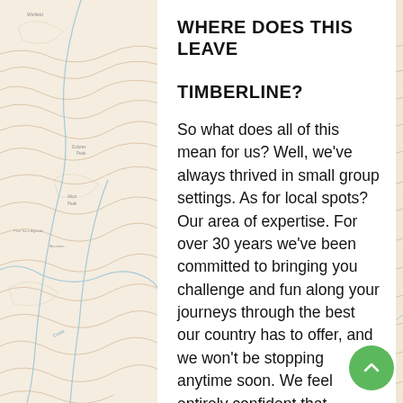[Figure (map): Topographic map background showing contour lines, peaks, creeks, and terrain features, visible on both left and right sides of the page behind the white content panel.]
WHERE DOES THIS LEAVE TIMBERLINE?
So what does all of this mean for us? Well, we've always thrived in small group settings. As for local spots? Our area of expertise. For over 30 years we've been committed to bringing you challenge and fun along your journeys through the best our country has to offer, and we won't be stopping anytime soon. We feel entirely confident that despite the waves that 2020 has thrown, we are more equipped